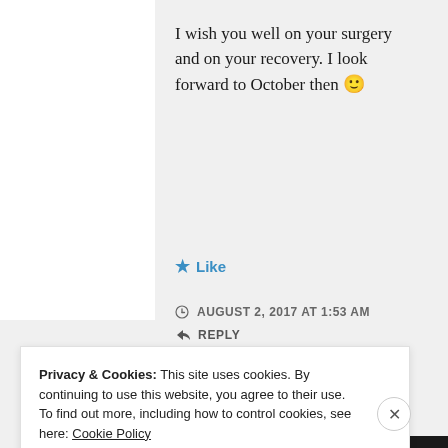I wish you well on your surgery and on your recovery. I look forward to October then 🙂
★ Like
AUGUST 2, 2017 AT 1:53 AM
↳ REPLY
Privacy & Cookies: This site uses cookies. By continuing to use this website, you agree to their use.
To find out more, including how to control cookies, see here: Cookie Policy
Close and accept